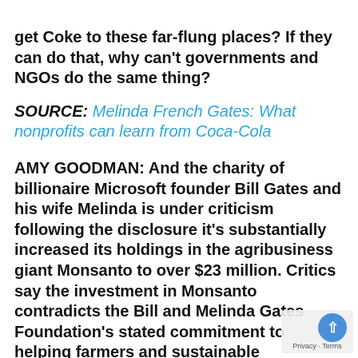get Coke to these far-flung places? If they can do that, why can't governments and NGOs do the same thing?
SOURCE: Melinda French Gates: What nonprofits can learn from Coca-Cola
AMY GOODMAN: And the charity of billionaire Microsoft founder Bill Gates and his wife Melinda is under criticism following the disclosure it's substantially increased its holdings in the agribusiness giant Monsanto to over $23 million. Critics say the investment in Monsanto contradicts the Bill and Melinda Gates Foundation's stated commitment to helping farmers and sustainable development in Africa.